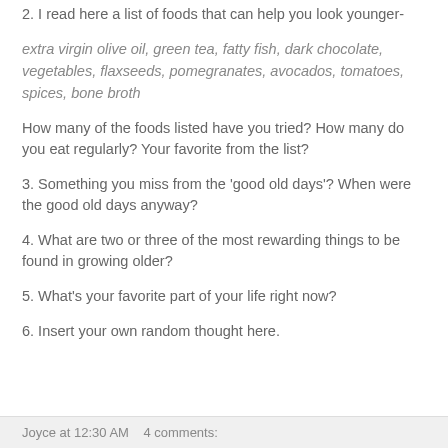2. I read here a list of foods that can help you look younger-
extra virgin olive oil, green tea, fatty fish, dark chocolate, vegetables, flaxseeds, pomegranates, avocados, tomatoes, spices, bone broth
How many of the foods listed have you tried? How many do you eat regularly? Your favorite from the list?
3. Something you miss from the 'good old days'? When were the good old days anyway?
4. What are two or three of the most rewarding things to be found in growing older?
5. What's your favorite part of your life right now?
6. Insert your own random thought here.
Joyce at 12:30 AM   4 comments: